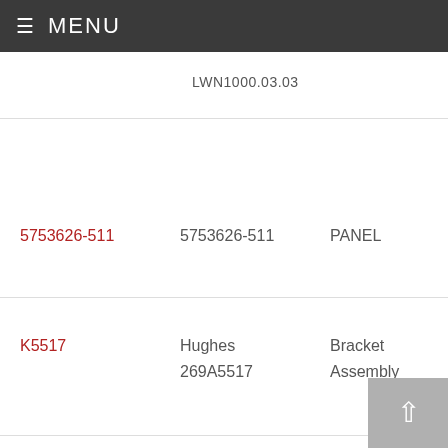MENU
LWN1000.03.03
5753626-511 | 5753626-511 | PANEL
K5517 | Hughes 269A5517 | Bracket Assembly